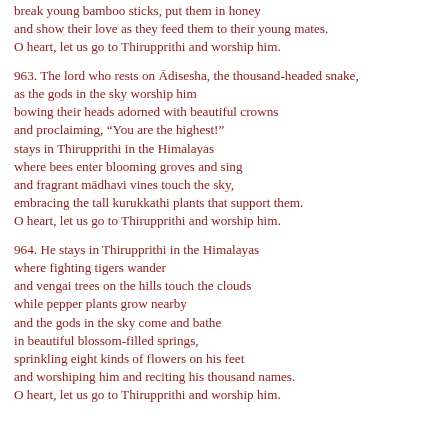break young bamboo sticks, put them in honey
and show their love as they feed them to their young mates.
O heart, let us go to Thirupprithi and worship him.
963. The lord who rests on Ādisesha, the thousand-headed snake,
as the gods in the sky worship him
bowing their heads adorned with beautiful crowns
and proclaiming, "You are the highest!"
stays in Thirupprithi in the Himalayas
where bees enter blooming groves and sing
and fragrant mādhavi vines touch the sky,
embracing the tall kurukkathi plants that support them.
O heart, let us go to Thirupprithi and worship him.
964. He stays in Thirupprithi in the Himalayas
where fighting tigers wander
and vengai trees on the hills touch the clouds
while pepper plants grow nearby
and the gods in the sky come and bathe
in beautiful blossom-filled springs,
sprinkling eight kinds of flowers on his feet
and worshiping him and reciting his thousand names.
O heart, let us go to Thirupprithi and worship him.